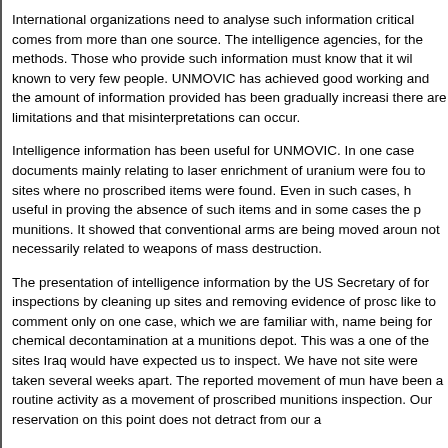International organizations need to analyse such information critically when it comes from more than one source. The intelligence agencies, for the methods. Those who provide such information must know that it will be known to very few people. UNMOVIC has achieved good working and the amount of information provided has been gradually increasing there are limitations and that misinterpretations can occur.
Intelligence information has been useful for UNMOVIC. In one case documents mainly relating to laser enrichment of uranium were found to sites where no proscribed items were found. Even in such cases, it is useful in proving the absence of such items and in some cases the presence of munitions. It showed that conventional arms are being moved around not necessarily related to weapons of mass destruction.
The presentation of intelligence information by the US Secretary of for inspections by cleaning up sites and removing evidence of proscribed like to comment only on one case, which we are familiar with, namely being for chemical decontamination at a munitions depot. This was one of the sites Iraq would have expected us to inspect. We have noted site were taken several weeks apart. The reported movement of munitions have been a routine activity as a movement of proscribed munitions inspection. Our reservation on this point does not detract from our a
Plans for the immediate future